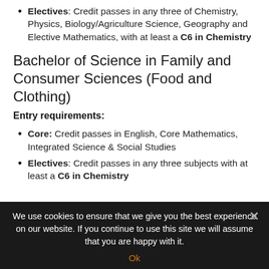Electives: Credit passes in any three of Chemistry, Physics, Biology/Agriculture Science, Geography and Elective Mathematics, with at least a C6 in Chemistry
Bachelor of Science in Family and Consumer Sciences (Food and Clothing)
Entry requirements:
Core: Credit passes in English, Core Mathematics, Integrated Science & Social Studies
Electives: Credit passes in any three subjects with at least a C6 in Chemistry
We use cookies to ensure that we give you the best experience on our website. If you continue to use this site we will assume that you are happy with it. Ok